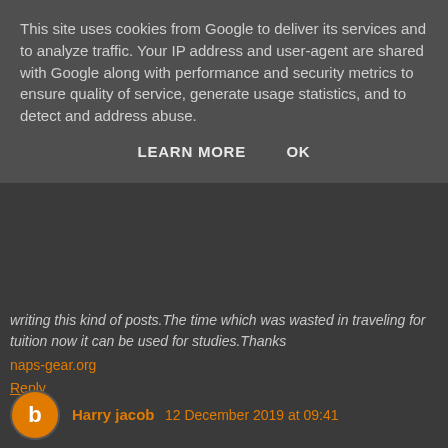This site uses cookies from Google to deliver its services and to analyze traffic. Your IP address and user-agent are shared with Google along with performance and security metrics to ensure quality of service, generate usage statistics, and to detect and address abuse.
LEARN MORE   OK
writing this kind of posts.The time which was wasted in traveling for tuition now it can be used for studies.Thanks naps-gear.org
Reply
Harry jacob 12 December 2019 at 09:41
frases de buenos dias Actually its very nice site! this is my first visit on this site my friend gave the link of this site! and site is really great
Reply